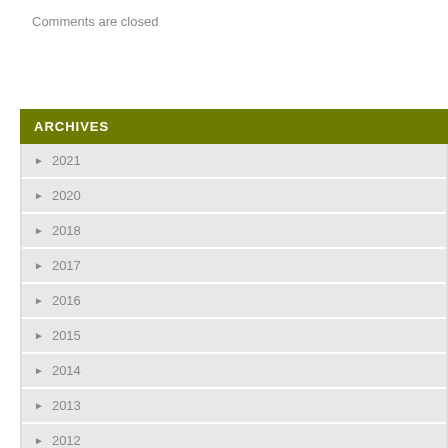Comments are closed
ARCHIVES
► 2021
► 2020
► 2018
► 2017
► 2016
► 2015
► 2014
► 2013
► 2012
TAGS